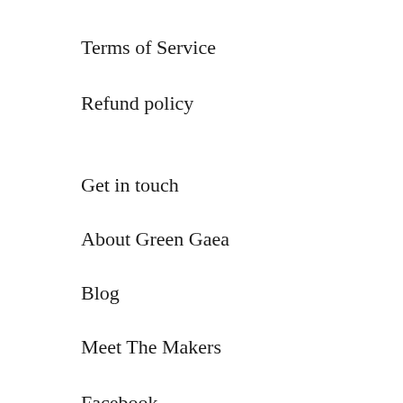Terms of Service
Refund policy
Get in touch
About Green Gaea
Blog
Meet The Makers
Facebook